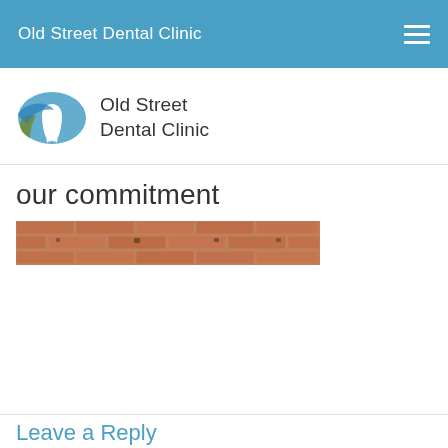Old Street Dental Clinic
[Figure (logo): Old Street Dental Clinic logo with stylized tooth and blue oval graphic, followed by text 'Old Street Dental Clinic']
our commitment
[Figure (photo): Horizontal photograph of a brick wall exterior building facade]
Leave a Reply